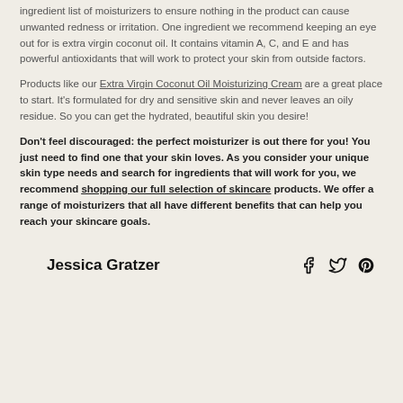ingredient list of moisturizers to ensure nothing in the product can cause unwanted redness or irritation. One ingredient we recommend keeping an eye out for is extra virgin coconut oil. It contains vitamin A, C, and E and has powerful antioxidants that will work to protect your skin from outside factors.
Products like our Extra Virgin Coconut Oil Moisturizing Cream are a great place to start. It's formulated for dry and sensitive skin and never leaves an oily residue. So you can get the hydrated, beautiful skin you desire!
Don't feel discouraged: the perfect moisturizer is out there for you! You just need to find one that your skin loves. As you consider your unique skin type needs and search for ingredients that will work for you, we recommend shopping our full selection of skincare products. We offer a range of moisturizers that all have different benefits that can help you reach your skincare goals.
Jessica Gratzer